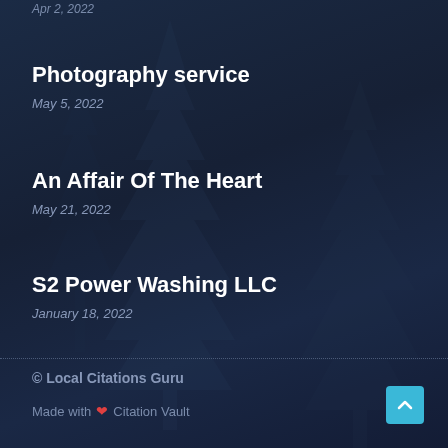Apr 2, 2022
Photography service
May 5, 2022
An Affair Of The Heart
May 21, 2022
S2 Power Washing LLC
January 18, 2022
© Local Citations Guru
Made with ❤ Citation Vault